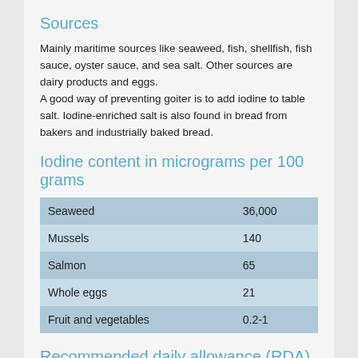Sources
Mainly maritime sources like seaweed, fish, shellfish, fish sauce, oyster sauce, and sea salt. Other sources are dairy products and eggs.
A good way of preventing goiter is to add iodine to table salt. Iodine-enriched salt is also found in bread from bakers and industrially baked bread.
Iodine content in micrograms per 100 grams
| Food | Amount |
| --- | --- |
| Seaweed | 36,000 |
| Mussels | 140 |
| Salmon | 65 |
| Whole eggs | 21 |
| Fruit and vegetables | 0.2-1 |
Recommended daily allowance (RDA)
Adults: 11 years of age and older: 150 micrograms
Children: 1-10 years of age: 70 micrograms